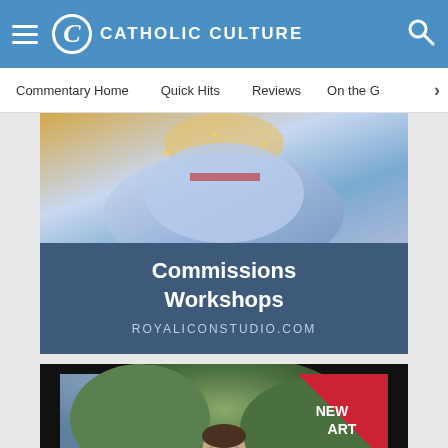CATHOLIC CULTURE
Commentary Home  Quick Hits  Reviews  On the G  >
[Figure (illustration): Advertisement banner for Royal Icon Studio showing an icon painting of a religious figure with blue robes and gold stars, overlaid with dark blue panel reading 'Commissions Workshops ROYALICONSTUDIO.COM']
[Figure (illustration): Advertisement banner with black border showing a painting of a bearded monk/friar with round glasses seated outdoors near a river with green trees behind him. Red triangle badge in upper right corner reads 'NEW ART']